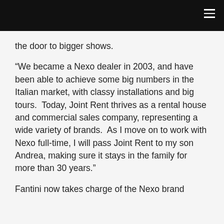the door to bigger shows.
“We became a Nexo dealer in 2003, and have been able to achieve some big numbers in the Italian market, with classy installations and big tours.  Today, Joint Rent thrives as a rental house and commercial sales company, representing a wide variety of brands.  As I move on to work with Nexo full-time, I will pass Joint Rent to my son Andrea, making sure it stays in the family for more than 30 years.”
Fantini now takes charge of the Nexo brand